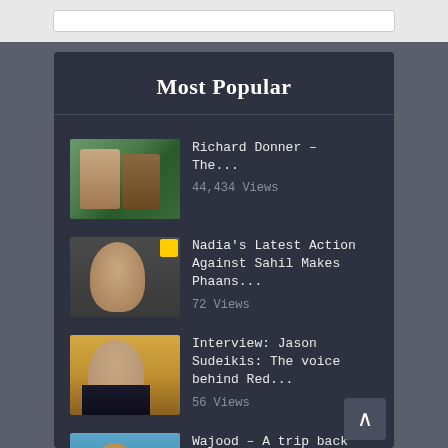Most Popular
Richard Donner – The... | 44,434 Views
Nadia's Latest Action Against Sahil Makes Phaans... | 72 Views
Interview: Jason Sudeikis: The voice behind Red... | 56 Views
Wajood – A trip back